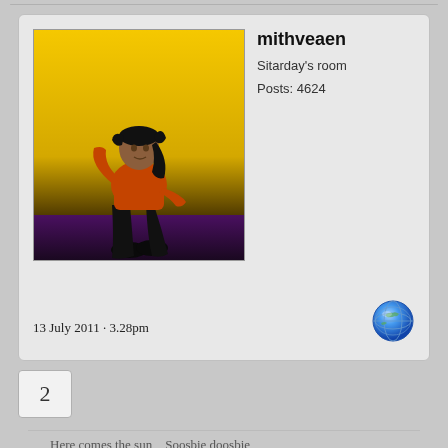[Figure (illustration): Forum post card with user avatar illustration showing a figure in orange top and dark pants against yellow/dark gradient background]
mithveaen
Sitarday's room
Posts: 4624
13 July 2011 · 3.28pm
2
I'm already there... but just to take over my name.
Here comes the sun    Soosbie doosbie